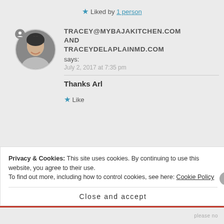★ Liked by 1 person
TRACEY@MYBAJAKITCHEN.COM AND TRACEYDELAPLAINMD.COM says: July 2, 2017 at 7:35 pm
Thanks Arl
★ Like
Privacy & Cookies: This site uses cookies. By continuing to use this website, you agree to their use. To find out more, including how to control cookies, see here: Cookie Policy
Close and accept